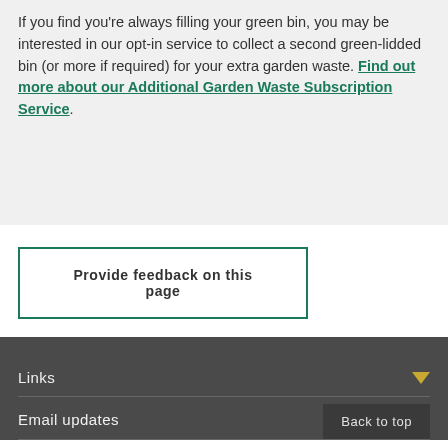If you find you're always filling your green bin, you may be interested in our opt-in service to collect a second green-lidded bin (or more if required) for your extra garden waste. Find out more about our Additional Garden Waste Subscription Service.
Provide feedback on this page
Links
Email updates
Back to top